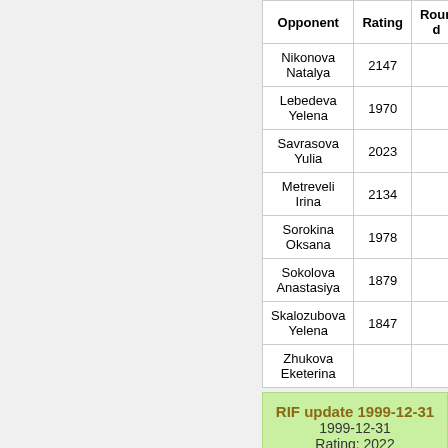| Opponent | Rating | Round |
| --- | --- | --- |
| Nikonova Natalya | 2147 |  |
| Lebedeva Yelena | 1970 |  |
| Savrasova Yulia | 2023 |  |
| Metreveli Irina | 2134 |  |
| Sorokina Oksana | 1978 |  |
| Sokolova Anastasiya | 1879 |  |
| Skalozubova Yelena | 1847 |  |
| Zhukova Eketerina |  |  |
RIF update 1999-12-31
1999-12-31
Rating: 2022
World Championship WT
1997-08-01 -> 1997-08-06
Provisional: N/A
| Opponent | Rating | Round | R |
| --- | --- | --- | --- |
| Balanova Jelena |  | 11 |  |